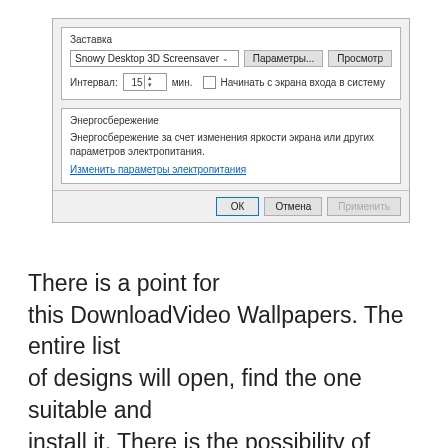[Figure (screenshot): Windows 10 screensaver settings dialog (in Russian). Shows 'Заставка' section with 'Snowy Desktop 3D Screensaver' dropdown, 'Параметры...' and 'Просмотр' buttons, interval set to 15 мин., checkbox for 'Начинать с экрана входа в систему'. Below is 'Энергосбережение' section with description text and a link 'Изменить параметры электропитания'. Footer has OK, Отмена, Применить buttons.]
There is a point for this DownloadVideo Wallpapers. The entire list of designs will open, find the one suitable and install it. There is the possibility of including a playlist of wallpaper, then what is happening on the desktop will be regularly updated.